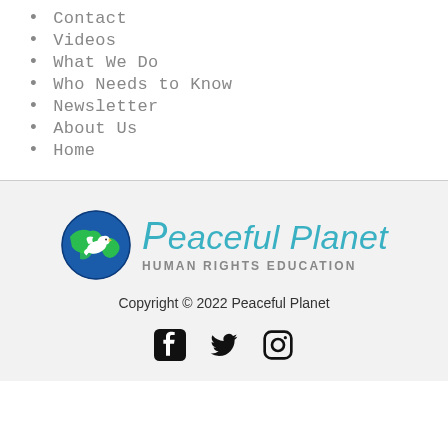Contact
Videos
What We Do
Who Needs to Know
Newsletter
About Us
Home
[Figure (logo): Peaceful Planet Human Rights Education logo — globe with dove, teal brand name in italic, gray subtitle in all-caps]
Copyright © 2022 Peaceful Planet
[Figure (other): Social media icons: Facebook, Twitter, Instagram]